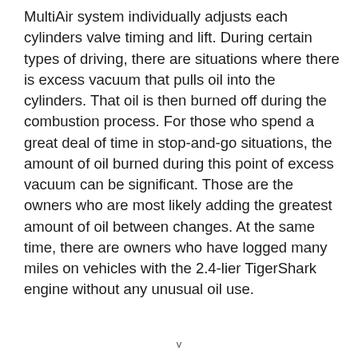MultiAir system individually adjusts each cylinders valve timing and lift. During certain types of driving, there are situations where there is excess vacuum that pulls oil into the cylinders. That oil is then burned off during the combustion process. For those who spend a great deal of time in stop-and-go situations, the amount of oil burned during this point of excess vacuum can be significant. Those are the owners who are most likely adding the greatest amount of oil between changes. At the same time, there are owners who have logged many miles on vehicles with the 2.4-lier TigerShark engine without any unusual oil use.
v